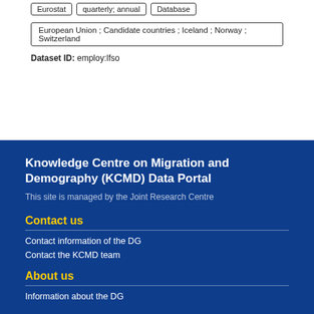Eurostat
quarterly; annual
Database
European Union ; Candidate countries ; Iceland ; Norway ; Switzerland
Dataset ID: employ:lfso
Knowledge Centre on Migration and Demography (KCMD) Data Portal
This site is managed by the Joint Research Centre
Contact us
Contact information of the DG
Contact the KCMD team
About us
Information about the DG